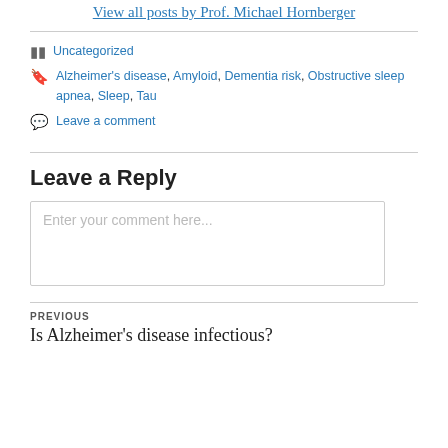View all posts by Prof. Michael Hornberger
Uncategorized
Alzheimer's disease, Amyloid, Dementia risk, Obstructive sleep apnea, Sleep, Tau
Leave a comment
Leave a Reply
Enter your comment here...
PREVIOUS
Is Alzheimer's disease infectious?